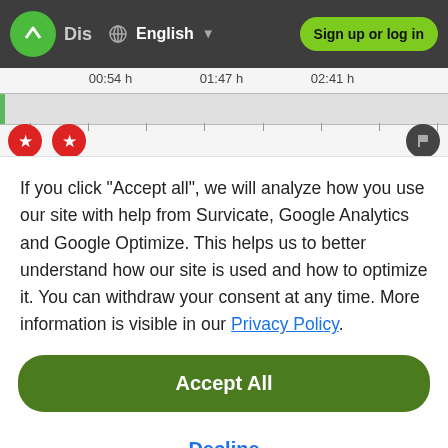Dis  English  Sign up or log in
[Figure (screenshot): Navigation bar with logo, Dis text, globe icon, English language selector with dropdown arrow, and green Sign up or log in button]
[Figure (screenshot): Timeline strip showing time markers 00:54 h, 01:47 h, 02:41 h with red star bookmark buttons and a dark flag button]
If you click "Accept all", we will analyze how you use our site with help from Survicate, Google Analytics and Google Optimize. This helps us to better understand how our site is used and how to optimize it. You can withdraw your consent at any time. More information is visible in our Privacy Policy.
Accept All
Decline
Details